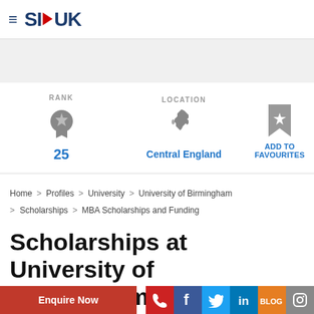SI-UK
[Figure (infographic): University rank badge icon showing rank 25, UK map location icon showing Central England, and bookmark/favourite icon with ADD TO FAVOURITES link]
Home > Profiles > University > University of Birmingham > Scholarships > MBA Scholarships and Funding
Scholarships at University of Birmingham